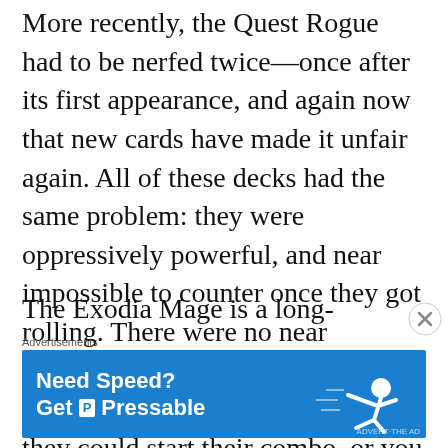More recently, the Quest Rogue had to be nerfed twice—once after its first appearance, and again now that new cards have made it unfair again. All of these decks had the same problem: they were oppressively powerful, and near impossible to counter once they got rolling. There were no near victories against these decks—either you blew them out before they could start their combo, or you got totally stomped. While combo decks seem to be the regular offenders, they are not inherently unfair, just difficult to balance.
The Exodia Mage is a long-standing staple of
[Figure (other): Close button (X in circle) for dismissing ad overlay]
Advertisements
[Figure (illustration): Advertisement banner for Pressable hosting service with blue background and text 'Need Speed? Get Pressable' with a figure of a person running/flying]